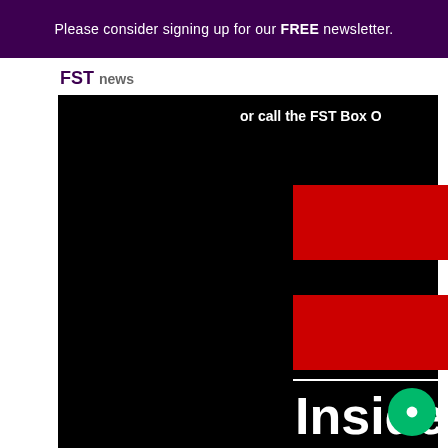Please consider signing up for our FREE newsletter.
or call the FST Box O
[Figure (other): Two red rectangles on black background, part of website banner/UI elements]
Inside
New KKC Show